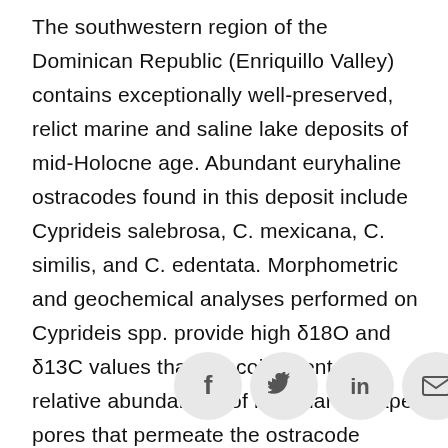The southwestern region of the Dominican Republic (Enriquillo Valley) contains exceptionally well-preserved, relict marine and saline lake deposits of mid-Holocne age. Abundant euryhaline ostracodes found in this deposit include Cyprideis salebrosa, C. mexicana, C. similis, and C. edentata. Morphometric and geochemical analyses performed on Cyprideis spp. provide high δ18O and δ13C values that are coincident with relative abundances of irregularly shaped pores that permeate the ostracode carapace. We recognize three stratigraphic intervals with distinct ostracode pore shape and stable isotope trends: (I) a 4.5–5.0m interval that contains ostracodes with highly irregular shaped pores (multiradiate) and high amplitude variability i [social icons] O an [social icons] C va [social icons] l) a [social icons] 5m interval comprised of ostracodes with circular pores and an overall trend towards low δ18O and δ13C values; and (III) a 5.6–6.5m
[Figure (infographic): Four social media share icons (Facebook, Twitter, LinkedIn, Email) overlaid on the text in a row of circular grey buttons]